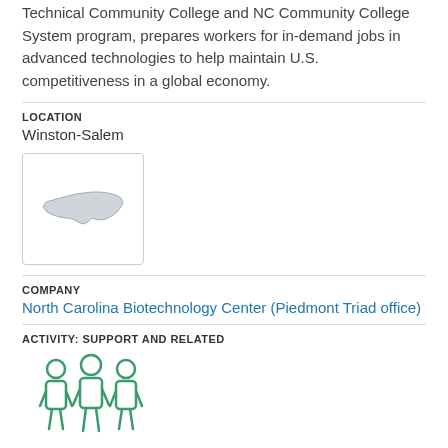Technical Community College and NC Community College System program, prepares workers for in-demand jobs in advanced technologies to help maintain U.S. competitiveness in a global economy.
LOCATION
Winston-Salem
[Figure (map): Small map icon showing the outline of North Carolina state in gray on white background]
COMPANY
North Carolina Biotechnology Center (Piedmont Triad office)
ACTIVITY: SUPPORT AND RELATED
[Figure (illustration): Green icon of three people/figures representing a group or team]